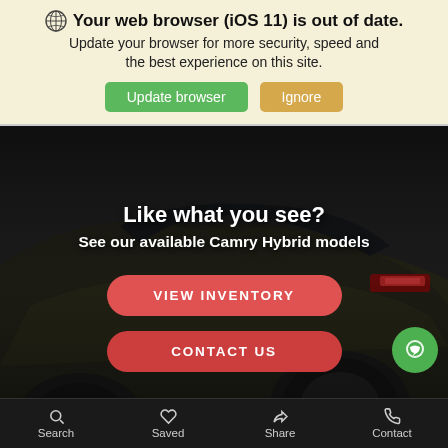Your web browser (iOS 11) is out of date.
Update your browser for more security, speed and the best experience on this site.
Update browser | Ignore
[Figure (photo): Dark-colored Toyota Camry Hybrid side/rear view in low-light setting]
Like what you see?
See our available Camry Hybrid models
VIEW INVENTORY
CONTACT US
Search | Saved | Share | Contact